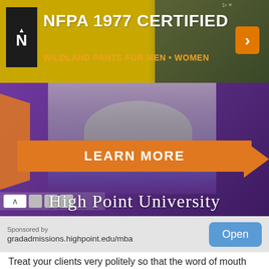[Figure (photo): NFPA 1977 Certified advertisement banner for wildland pants for men and women, with logo, yellow/olive background and dark green pants visible on the right]
[Figure (photo): High Point University advertisement showing a person in gray top against purple background with orange LEARN MORE button and university name]
Sponsored by
gradadmissions.highpoint.edu/mba
Open
Treat your clients very politely so that the word of mouth publicity is in your favor and you get more business from a referral.
Pet Cremation Franchise